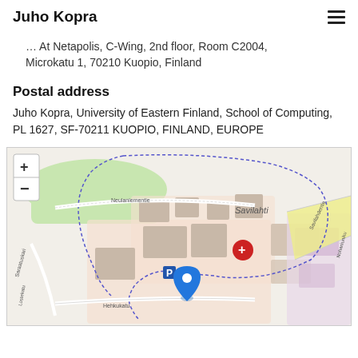Juho Kopra
… At Netapolis, C-Wing, 2nd floor, Room C2004, Microkatu 1, 70210 Kuopio, Finland
Postal address
Juho Kopra, University of Eastern Finland, School of Computing, PL 1627, SF-70211 KUOPIO, FINLAND, EUROPE
[Figure (map): OpenStreetMap showing Savilahti area in Kuopio, Finland, with a blue location pin marker and a red plus marker. Zoom in/out controls visible. Streets labeled: Neulaniementie, Saraatuskari, Hehkukatu, Savilahdentie, Nohaniuniku. Area labeled Savilahti. Parking symbol (P) visible near pin.]